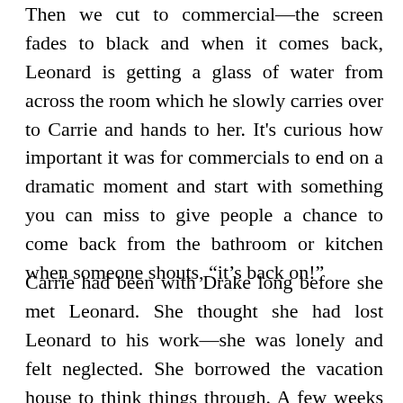Then we cut to commercial—the screen fades to black and when it comes back, Leonard is getting a glass of water from across the room which he slowly carries over to Carrie and hands to her. It's curious how important it was for commercials to end on a dramatic moment and start with something you can miss to give people a chance to come back from the bathroom or kitchen when someone shouts, “it’s back on!”
Carrie had been with Drake long before she met Leonard. She thought she had lost Leonard to his work—she was lonely and felt neglected. She borrowed the vacation house to think things through. A few weeks ago she had gotten a call out